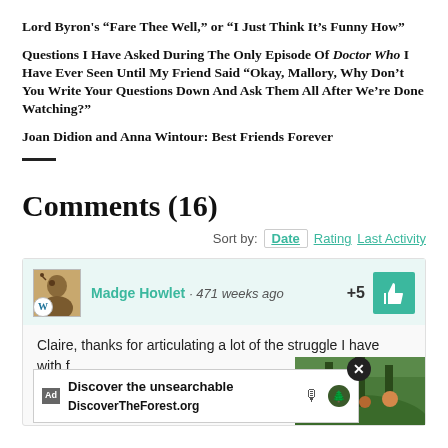Lord Byron's “Fare Thee Well,” or “I Just Think It’s Funny How”
Questions I Have Asked During The Only Episode Of Doctor Who I Have Ever Seen Until My Friend Said “Okay, Mallory, Why Don’t You Write Your Questions Down And Ask Them All After We’re Done Watching?”
Joan Didion and Anna Wintour: Best Friends Forever
Comments (16)
Sort by: Date  Rating  Last Activity
Madge Howlet · 471 weeks ago  +5
Claire, thanks for articulating a lot of the struggle I have with f and celeb hard time justifying being happy about a Steelers win (yeah, I